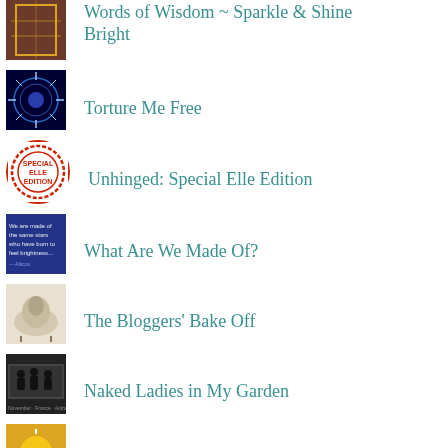Words of Wisdom ~ Sparkle & Shine Bright
Torture Me Free
Unhinged: Special Elle Edition
What Are We Made Of?
The Bloggers' Bake Off
Naked Ladies in My Garden
✦ Sunshine Blogger Award ✦
Pineapple Boy